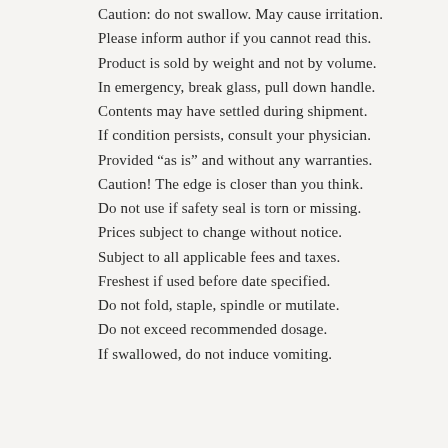Caution: do not swallow. May cause irritation.
Please inform author if you cannot read this.
Product is sold by weight and not by volume.
In emergency, break glass, pull down handle.
Contents may have settled during shipment.
If condition persists, consult your physician.
Provided “as is” and without any warranties.
Caution! The edge is closer than you think.
Do not use if safety seal is torn or missing.
Prices subject to change without notice.
Subject to all applicable fees and taxes.
Freshest if used before date specified.
Do not fold, staple, spindle or mutilate.
Do not exceed recommended dosage.
If swallowed, do not induce vomiting.